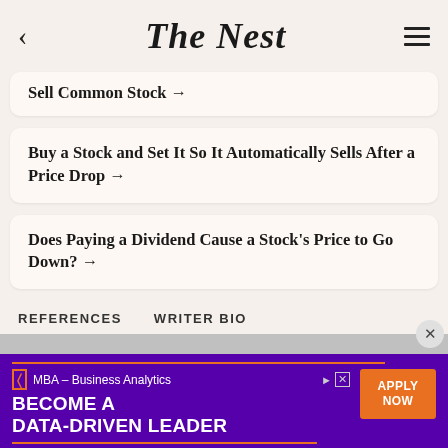The Nest
Sell Common Stock →
Buy a Stock and Set It So It Automatically Sells After a Price Drop →
Does Paying a Dividend Cause a Stock's Price to Go Down? →
REFERENCES   WRITER BIO
[Figure (screenshot): Advertisement banner for High Point University MBA – Business Analytics program. Purple background with orange accent lines and brackets. Text: MBA – Business Analytics, BECOME A DATA-DRIVEN LEADER, with APPLY NOW orange button and HIGH POINT UNIVERSITY at bottom.]